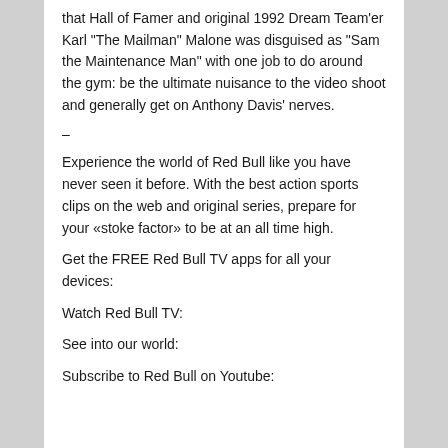that Hall of Famer and original 1992 Dream Team'er Karl “The Mailman” Malone was disguised as “Sam the Maintenance Man” with one job to do around the gym: be the ultimate nuisance to the video shoot and generally get on Anthony Davis’ nerves.
–
Experience the world of Red Bull like you have never seen it before. With the best action sports clips on the web and original series, prepare for your «stoke factor» to be at an all time high.
Get the FREE Red Bull TV apps for all your devices:
Watch Red Bull TV:
See into our world:
Subscribe to Red Bull on Youtube: